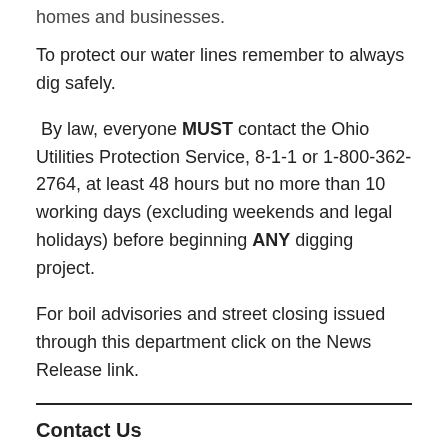homes and businesses.
To protect our water lines remember to always dig safely.
By law, everyone MUST contact the Ohio Utilities Protection Service, 8-1-1 or 1-800-362-2764, at least 48 hours but no more than 10 working days (excluding weekends and legal holidays) before beginning ANY digging project.
For boil advisories and street closing issued through this department click on the News Release link.
Contact Us